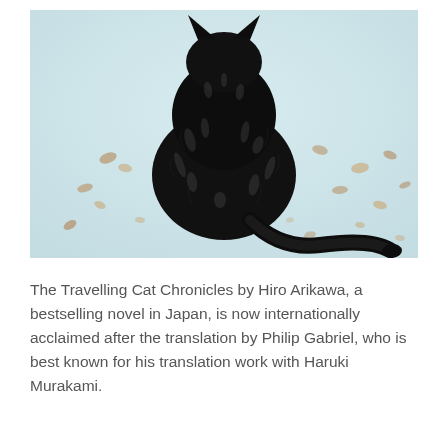[Figure (illustration): Book cover illustration showing the back view of a fluffy black cat sitting and facing away, with its tail curving to the right. The background is a pale blue-white with scattered small golden-brown leaf shapes. The illustration has a painterly, textured style.]
The Travelling Cat Chronicles by Hiro Arikawa, a bestselling novel in Japan, is now internationally acclaimed after the translation by Philip Gabriel, who is best known for his translation work with Haruki Murakami.